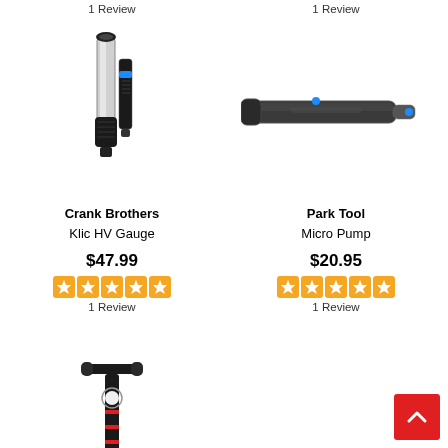1 Review
1 Review
[Figure (photo): Crank Brothers Klic HV Gauge bicycle pump product photo]
Crank Brothers Klic HV Gauge
$47.99
[Figure (other): 5 orange star rating icons]
1 Review
[Figure (photo): Park Tool Micro Pump bicycle pump product photo]
Park Tool Micro Pump
$20.95
[Figure (other): 5 orange star rating icons]
1 Review
[Figure (photo): Partially visible bicycle pump product at bottom left]
[Figure (other): Red scroll-to-top button with upward chevron arrow]